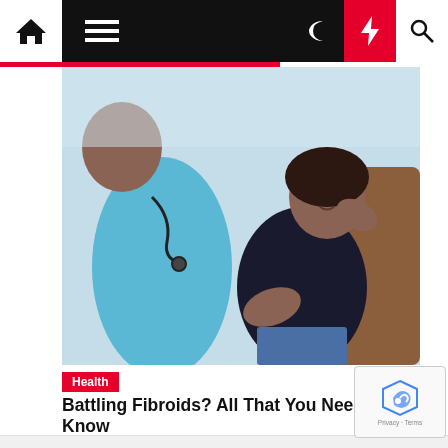Navigation bar with home, menu, moon, lightning, and search icons
[Figure (photo): A healthcare worker in blue scrubs with a stethoscope placing a hand on the shoulder of a woman in a dark top who is seated and holding her abdomen in pain, appearing distressed.]
Health
Battling Fibroids? All That You Need to Know
Wanda Rice  10 months ago